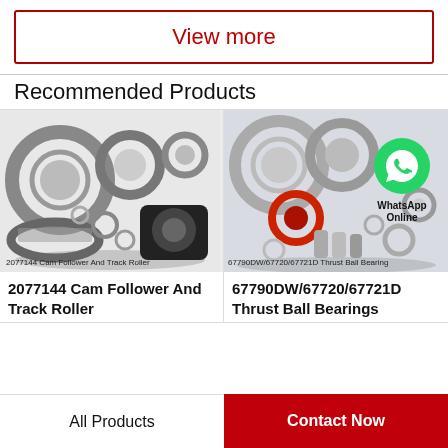View more
Recommended Products
[Figure (photo): 2077144 Cam Follower And Track Roller — assorted bearings and roller components on white background]
2077144 Cam Follower And Track Roller
2077144 Cam Follower And Track Roller
[Figure (photo): 67790DW/67720/67721D Thrust Ball Bearing — assorted ball bearings on grey background with WhatsApp Online overlay icon]
67790DW/67720/67721D Thrust Ball Bearing
67790DW/67720/67721D Thrust Ball Bearings
All Products
Contact Now